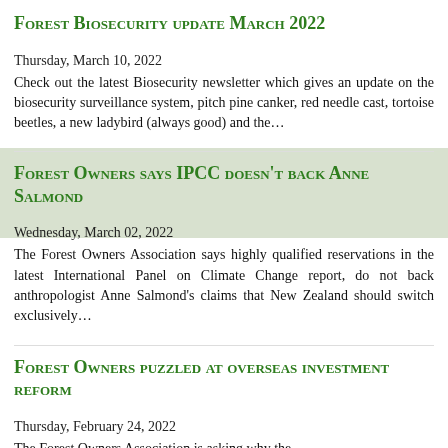Forest Biosecurity update March 2022
Thursday, March 10, 2022
Check out the latest Biosecurity newsletter which gives an update on the biosecurity surveillance system, pitch pine canker, red needle cast, tortoise beetles, a new ladybird (always good) and the…
Forest Owners says IPCC doesn't back Anne Salmond
Wednesday, March 02, 2022
The Forest Owners Association says highly qualified reservations in the latest International Panel on Climate Change report, do not back anthropologist Anne Salmond's claims that New Zealand should switch exclusively…
Forest Owners puzzled at overseas investment reform
Thursday, February 24, 2022
The Forest Owners Association is asking why the